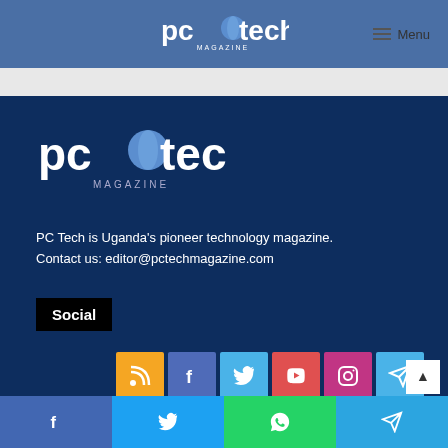[Figure (logo): PC Tech Magazine logo in header navigation bar]
Menu
[Figure (logo): PC Tech Magazine logo in dark blue footer area]
PC Tech is Uganda's pioneer technology magazine.
Contact us: editor@pctechmagazine.com
Social
[Figure (infographic): Social media icon buttons: RSS (orange), Facebook (blue), Twitter (light blue), YouTube (red), Instagram (pink/purple), Telegram (light blue)]
[Figure (infographic): Bottom share bar with Facebook, Twitter, WhatsApp, Telegram buttons]